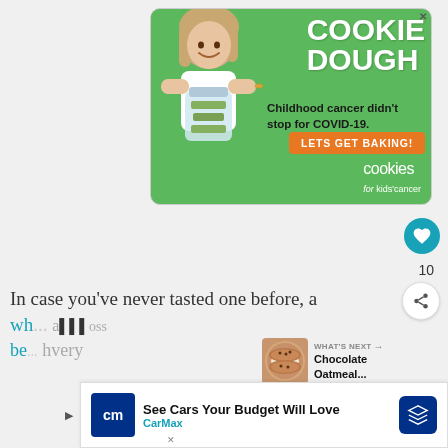[Figure (illustration): Green advertisement banner for 'Cookies for Kids Cancer' showing a young girl holding a jar of money, with text 'COOKIE DOUGH', 'Childhood cancer didn't stop for COVID-19.', 'LETS GET BAKING!', and 'cookies for kids' cancer' logo]
10
[Figure (illustration): What's Next panel showing a chocolate oatmeal cookie image with label 'WHAT'S NEXT →' and text 'Chocolate Oatmeal...']
In case you've never tasted one before, a wh... a...poss be... hvery
[Figure (illustration): Bottom advertisement bar for CarMax with logo, text 'See Cars Your Budget Will Love', 'CarMax', and a navigation arrow icon]